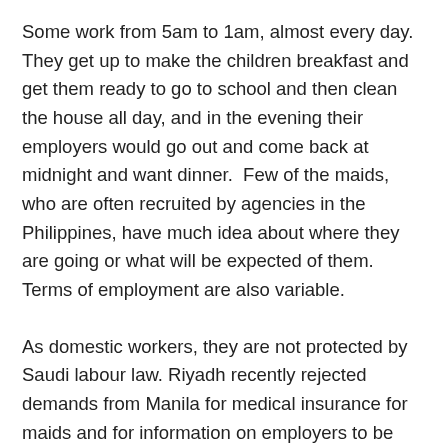Some work from 5am to 1am, almost every day. They get up to make the children breakfast and get them ready to go to school and then clean the house all day, and in the evening their employers would go out and come back at midnight and want dinner.  Few of the maids, who are often recruited by agencies in the Philippines, have much idea about where they are going or what will be expected of them. Terms of employment are also variable.
As domestic workers, they are not protected by Saudi labour law. Riyadh recently rejected demands from Manila for medical insurance for maids and for information on employers to be supplied before their departure. For their part, Philippine officials refused to accept a cut in the minimum wage for maids from $400 a month to $200. The result is a moratorium on the hiring of maids. Indonesia has also stopped its citizens travelling to Saudi Arabia following a prosecution of its nationals...